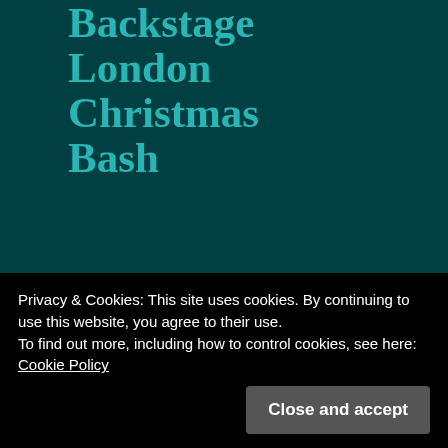BBC Backstage London Christmas Bash
Comments [Comments] Trackbacks [0]
Share this post:
Privacy & Cookies: This site uses cookies. By continuing to use this website, you agree to their use.
To find out more, including how to control cookies, see here:
Cookie Policy
Close and accept
The history of BBC Backstage (the ebook)